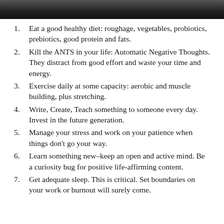[Figure (photo): Dark nature/water photo strip at top of page]
Eat a good healthy diet: roughage, vegetables, probiotics, prebiotics, good protein and fats.
Kill the ANTS in your life: Automatic Negative Thoughts. They distract from good effort and waste your time and energy.
Exercise daily at some capacity: aerobic and muscle building, plus stretching.
Write, Create, Teach something to someone every day. Invest in the future generation.
Manage your stress and work on your patience when things don't go your way.
Learn something new–keep an open and active mind. Be a curiosity bug for positive life-affirming content.
Get adequate sleep. This is critical. Set boundaries on your work or burnout will surely come.